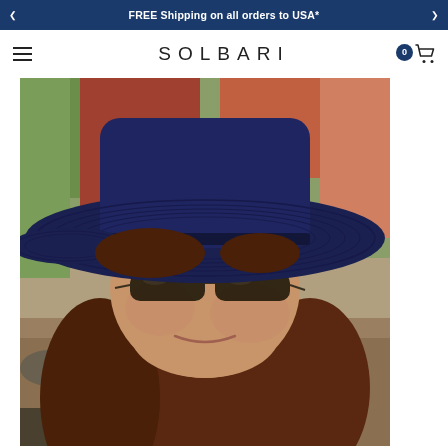FREE Shipping on all orders to USA*
SOLBARI
[Figure (photo): Woman wearing a wide-brim navy blue sun hat and dark sunglasses, with long auburn hair, smiling slightly. Background shows trees and greenery in autumn colors. She appears to be outdoors in a sunny setting.]